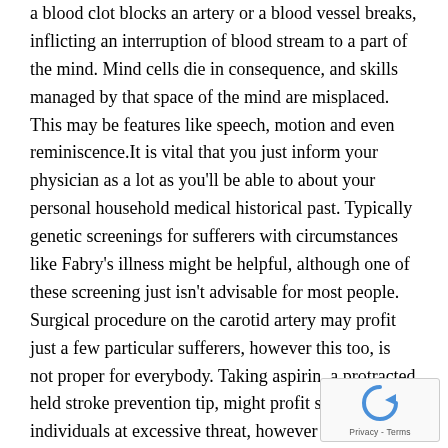a blood clot blocks an artery or a blood vessel breaks, inflicting an interruption of blood stream to a part of the mind. Mind cells die in consequence, and skills managed by that space of the mind are misplaced. This may be features like speech, motion and even reminiscence.It is vital that you just inform your physician as a lot as you'll be able to about your personal household medical historical past. Typically genetic screenings for sufferers with circumstances like Fabry's illness might be helpful, although one of these screening just isn't advisable for most people. Surgical procedure on the carotid artery may profit just a few particular sufferers, however this too, is not proper for everybody. Taking aspirin, a protracted held stroke prevention tip, might profit some individuals at excessive threat, however most likely is not value it for the remainder of us.
In accordance with stroke consultants the toll of the stroke on the individual when it comes to life-style and economically is...